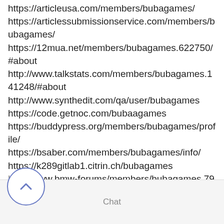https://articleusa.com/members/bubagames/
https://articlessubmissionservice.com/members/bubagames/
https://12mua.net/members/bubagames.622750/#about
http://www.talkstats.com/members/bubagames.141248/#about
http://www.synthedit.com/qa/user/bubagames
https://code.getnoc.com/bubaagames
https://buddypress.org/members/bubagames/profile/
https://bsaber.com/members/bubagames/info/
https://k289gitlab1.citrin.ch/bubagames
http://www.bmw-forums/members/bubagames.79051/#about
Chat